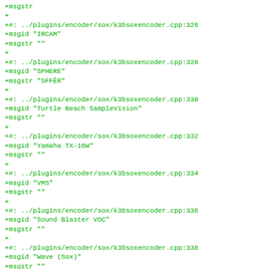+msgstr
+
+#: ../plugins/encoder/sox/k3bsoxencoder.cpp:326
+msgid "IRCAM"
+msgstr ""
+
+#: ../plugins/encoder/sox/k3bsoxencoder.cpp:328
+msgid "SPHERE"
+msgstr "SFFÊR"
+
+#: ../plugins/encoder/sox/k3bsoxencoder.cpp:330
+msgid "Turtle Beach SampleVision"
+msgstr ""
+
+#: ../plugins/encoder/sox/k3bsoxencoder.cpp:332
+msgid "Yamaha TX-16W"
+msgstr ""
+
+#: ../plugins/encoder/sox/k3bsoxencoder.cpp:334
+msgid "VMS"
+msgstr ""
+
+#: ../plugins/encoder/sox/k3bsoxencoder.cpp:336
+msgid "Sound Blaster VOC"
+msgstr ""
+
+#: ../plugins/encoder/sox/k3bsoxencoder.cpp:338
+msgid "Wave (Sox)"
+msgstr ""
+
+#: ../plugins/encoder/sox/k3bsoxencoder.cpp:340